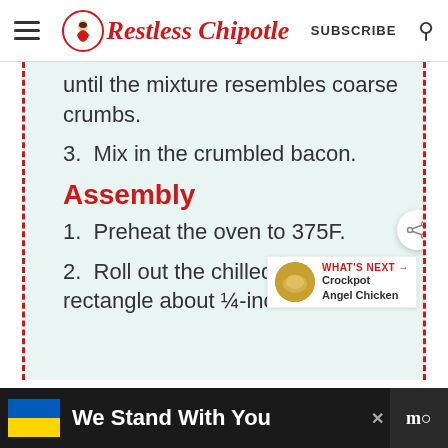Restless Chipotle — SUBSCRIBE
until the mixture resembles coarse crumbs.
3. Mix in the crumbled bacon.
Assembly
1. Preheat the oven to 375F.
2. Roll out the chilled dough into a rectangle about ¼-inch thick.
WHAT'S NEXT → Crockpot Angel Chicken
We Stand With You